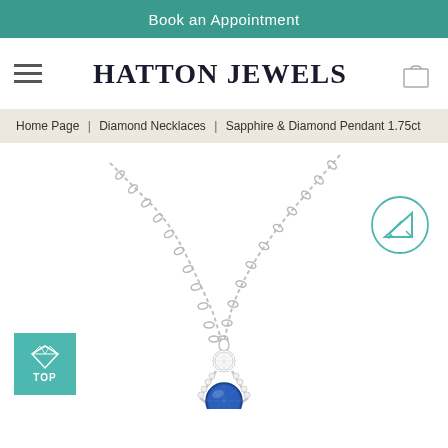Book an Appointment
HATTON JEWELS
Home Page | Diamond Necklaces | Sapphire & Diamond Pendant 1.75ct
[Figure (photo): A sapphire and diamond pendant necklace on a white background. The pendant features a round blue sapphire set within a diamond-encrusted teardrop/triangular frame, with a round diamond above it, suspended from a fine white gold chain.]